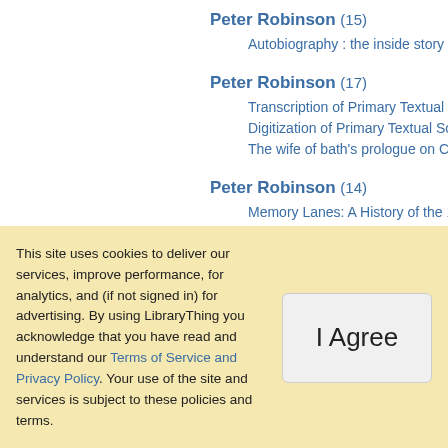Peter Robinson (15)
Autobiography : the inside story of Hol…
Peter Robinson (17)
Transcription of Primary Textual Sourc…
Digitization of Primary Textual Sources…
The wife of bath's prologue on CD-RO…
Peter Robinson (14)
Memory Lanes: A History of the 1970 t…
Memory lanes ... the beginning : a hist…
Memory lanes -revisited : a history of t…
This site uses cookies to deliver our services, improve performance, for analytics, and (if not signed in) for advertising. By using LibraryThing you acknowledge that you have read and understand our Terms of Service and Privacy Policy. Your use of the site and services is subject to these policies and terms.